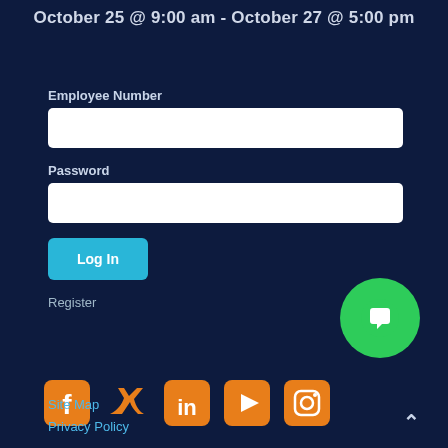October 25 @ 9:00 am - October 27 @ 5:00 pm
Employee Number
Password
Log In
Register
[Figure (infographic): Social media icons: Facebook, Twitter, LinkedIn, YouTube, Instagram — all in orange color]
[Figure (illustration): Green circular chat bubble button]
Site Map
Privacy Policy